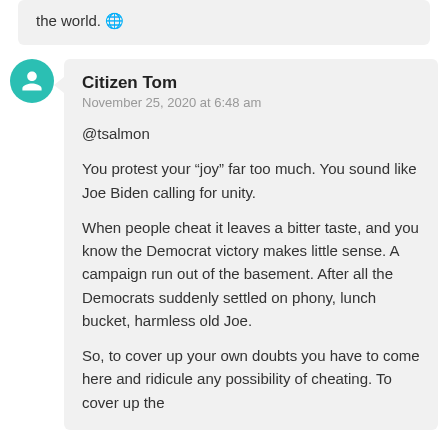the world. 🌐
Citizen Tom
November 25, 2020 at 6:48 am
@tsalmon

You protest your “joy” far too much. You sound like Joe Biden calling for unity.

When people cheat it leaves a bitter taste, and you know the Democrat victory makes little sense. A campaign run out of the basement. After all the Democrats suddenly settled on phony, lunch bucket, harmless old Joe.

So, to cover up your own doubts you have to come here and ridicule any possibility of cheating. To cover up the